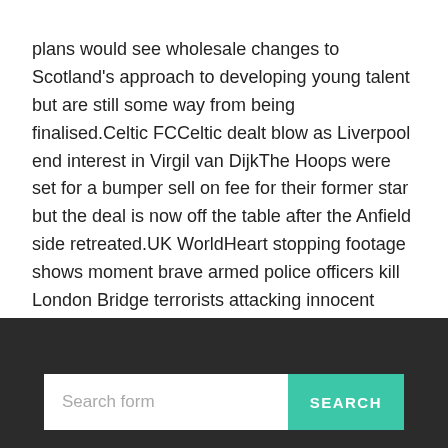plans would see wholesale changes to Scotland's approach to developing young talent but are still some way from being finalised.Celtic FCCeltic dealt blow as Liverpool end interest in Virgil van DijkThe Hoops were set for a bumper sell on fee for their former star but the deal is now off the table after the Anfield side retreated.UK WorldHeart stopping footage shows moment brave armed police officers kill London Bridge terrorists attacking innocent peopleWARNING: DISTRESSING IMAGES. Thanks to the swift action of the police, the attack was stopped eight minutes after the first call Cheap Jerseys free shipping.
Search form  SEARCH